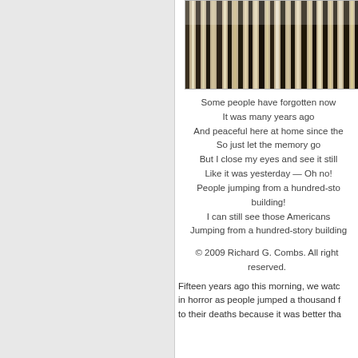[Figure (photo): Close-up photo of vertical metallic or architectural strips/columns, dark and light tones alternating]
Some people have forgotten now
It was many years ago
And peaceful here at home since the
So just let the memory go
But I close my eyes and see it still
Like it was yesterday — Oh no!
People jumping from a hundred-story building!
I can still see those Americans
Jumping from a hundred-story building
© 2009 Richard G. Combs. All rights reserved.
Fifteen years ago this morning, we watched in horror as people jumped a thousand feet to their deaths because it was better tha...